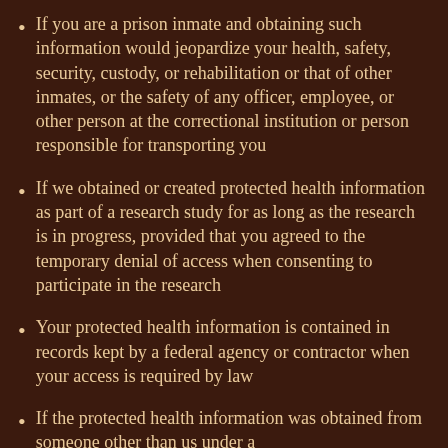If you are a prison inmate and obtaining such information would jeopardize your health, safety, security, custody, or rehabilitation or that of other inmates, or the safety of any officer, employee, or other person at the correctional institution or person responsible for transporting you
If we obtained or created protected health information as part of a research study for as long as the research is in progress, provided that you agreed to the temporary denial of access when consenting to participate in the research
Your protected health information is contained in records kept by a federal agency or contractor when your access is required by law
If the protected health information was obtained from someone other than us under a